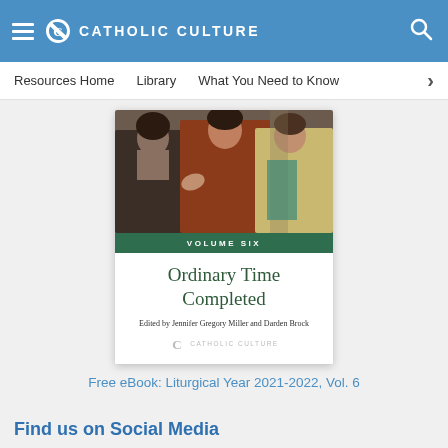CATHOLIC CULTURE
Resources Home   Library   What You Need to Know
[Figure (illustration): Book cover for 'Ordinary Time Completed' Volume Six, Liturgical Year 2021-2022 Vol. 6, edited by Jennifer Gregory Miller and Darden Brock, published by Catholic Culture. The cover features a religious painting depicting robed figures including Jesus.]
Free eBook: Liturgical Year 2021-2022, Vol. 6
Find us on Social Media